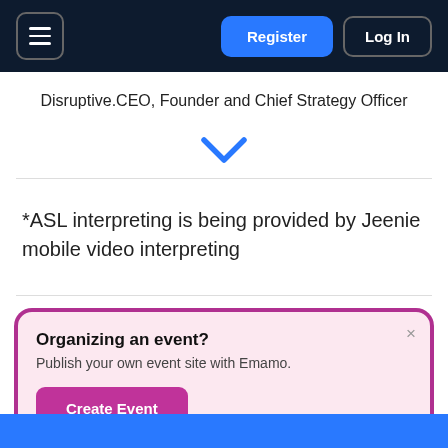Register | Log In
Disruptive.CEO, Founder and Chief Strategy Officer
[Figure (other): Blue chevron / down arrow icon]
*ASL interpreting is being provided by Jeenie mobile video interpreting
[Figure (infographic): Popup card: Organizing an event? Publish your own event site with Emamo. Create Event button.]